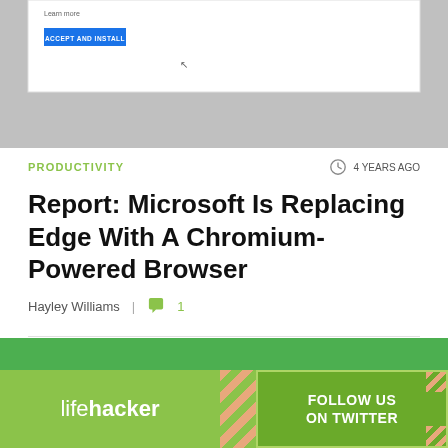[Figure (screenshot): Browser dialog with 'Learn more' text and blue 'ACCEPT AND INSTALL' button on gray background]
PRODUCTIVITY
4 YEARS AGO
Report: Microsoft Is Replacing Edge With A Chromium-Powered Browser
Hayley Williams | 1
[Figure (photo): Close-up of a wall clock face showing numbers 11, 12, and 1, with clock hands, on green background]
[Figure (other): Lifehacker advertisement banner with 'lifehacker' logo on left and 'FOLLOW US ON TWITTER' on right with diagonal stripe pattern divider]